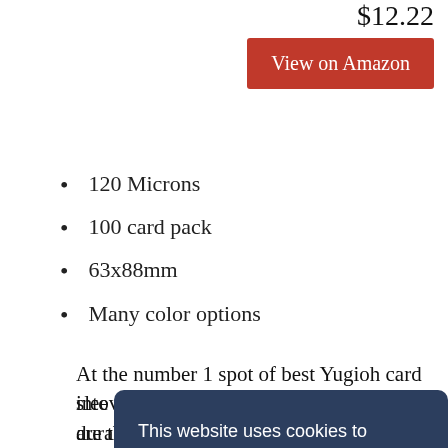$12.22
View on Amazon
120 Microns
100 card pack
63x88mm
Many color options
At the number 1 spot of best Yugioh card sleeves is the Dragon Shield Matte. These are the priciest option out of [partially obscured by cookie banner]
Dr[obscured] the[obscured]
into making these, and they have a nice durable feel to
This website uses cookies to ensure you get the best experience on our website.  Learn more
Got it